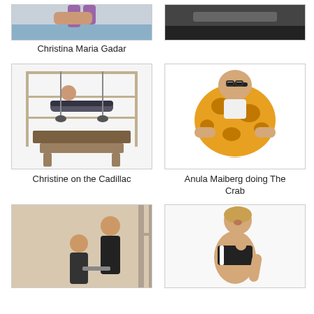[Figure (photo): Partial cropped photo of a person doing a Pilates exercise on a mat, blue tones]
[Figure (photo): Partial cropped photo of a person on Pilates equipment, dark tones]
Christina Maria Gadar
[Figure (photo): Christine doing an inverted exercise on the Cadillac Pilates apparatus]
[Figure (photo): Anula Maiberg doing The Crab Pilates exercise, wearing orange patterned outfit]
Christine on the Cadillac
Anula Maiberg doing The Crab
[Figure (photo): Person doing Pilates on the Cadillac with a trainer assisting, beige tones]
[Figure (photo): Woman in black sports bra doing a stretching exercise, white background]